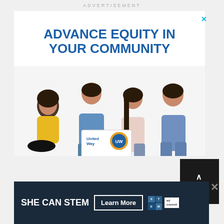ADVERTISEMENT
[Figure (illustration): United Way advertisement showing text 'ADVANCE EQUITY IN YOUR COMMUNITY' above a photo of four smiling young adults seated together, with United Way logo overlay. Close button (X) in top right corner.]
[Figure (illustration): 'SHE CAN STEM' advertisement banner with 'Learn More' button, STEM logo grid, and Ad Council logo on dark navy background.]